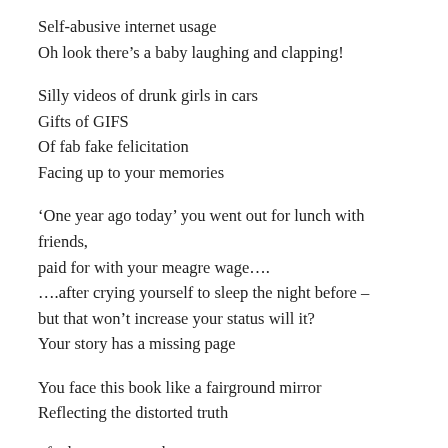Self-abusive internet usage
Oh look there’s a baby laughing and clapping!
Silly videos of drunk girls in cars
Gifts of GIFS
Of fab fake felicitation
Facing up to your memories
‘One year ago today’ you went out for lunch with friends, paid for with your meagre wage….
….after crying yourself to sleep the night before –
but that won’t increase your status will it?
Your story has a missing page
You face this book like a fairground mirror
Reflecting the distorted truth
of what you want them to see